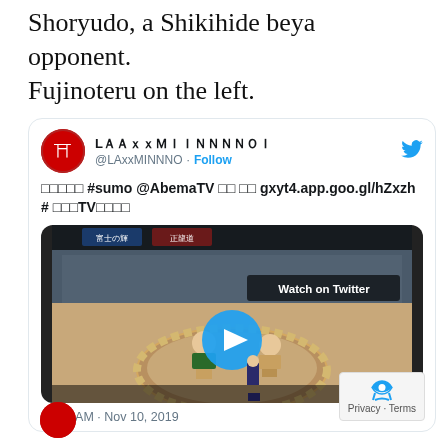Shoryudo, a Shikihide beya opponent. Fujinoteru on the left.
[Figure (screenshot): Tweet from @LAxxMINNNO dated 12:04 AM · Nov 10, 2019 showing a sumo match video with #sumo @AbemaTV hashtags and a link gxyt4.app.goo.gl/hZxzh, with a video thumbnail of two sumo wrestlers in a ring with a 'Watch on Twitter' overlay and a blue play button.]
12:04 AM · Nov 10, 2019